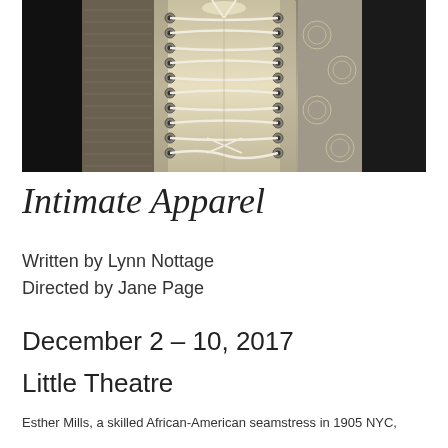[Figure (photo): Close-up black and white / sepia photograph of a laced corset with rope laces and eyelets, with decorative lace fabric visible on the left side]
Intimate Apparel
Written by Lynn Nottage
Directed by Jane Page
December 2 – 10, 2017
Little Theatre
Esther Mills, a skilled African-American seamstress in 1905 NYC,